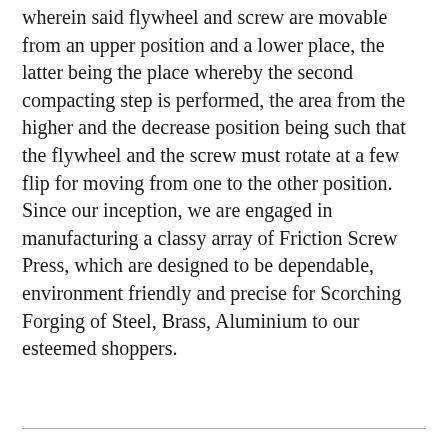wherein said flywheel and screw are movable from an upper position and a lower place, the latter being the place whereby the second compacting step is performed, the area from the higher and the decrease position being such that the flywheel and the screw must rotate at a few flip for moving from one to the other position. Since our inception, we are engaged in manufacturing a classy array of Friction Screw Press, which are designed to be dependable, environment friendly and precise for Scorching Forging of Steel, Brass, Aluminium to our esteemed shoppers.